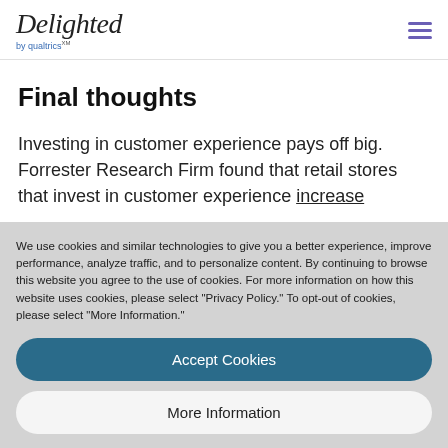Delighted by qualtrics
Final thoughts
Investing in customer experience pays off big. Forrester Research Firm found that retail stores that invest in customer experience increase
We use cookies and similar technologies to give you a better experience, improve performance, analyze traffic, and to personalize content. By continuing to browse this website you agree to the use of cookies. For more information on how this website uses cookies, please select "Privacy Policy." To opt-out of cookies, please select "More Information."
Accept Cookies
More Information